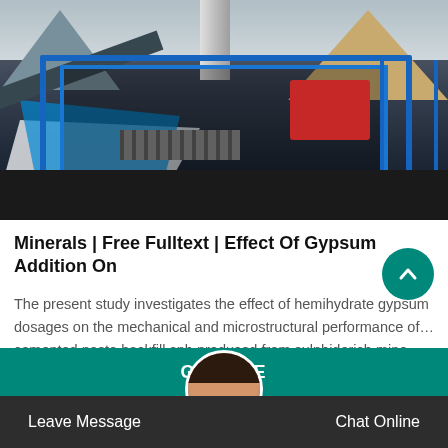[Figure (photo): Industrial mining equipment with blue metal frame structure, conveyor belt, red machinery, and blue/white tarps at an outdoor mining site with mountains in the background]
Minerals | Free Fulltext | Effect Of Gypsum Addition On
The present study investigates the effect of hemihydrate gypsum dosages on the mechanical and microstructural performance of… cemented paste backfill cpb produced from sulphiderich mine
Leave Message   Chat Online